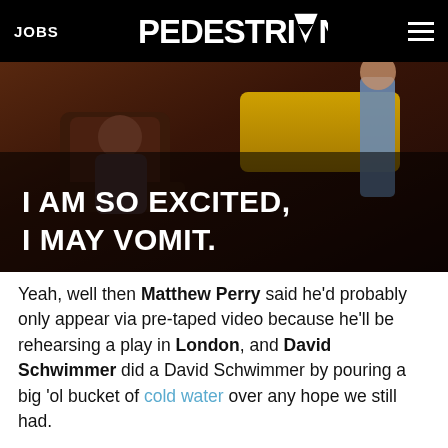JOBS | PEDESTRIAN
[Figure (photo): Screenshot from a TV show (likely Friends) showing a person sitting in a recliner chair with large text overlay reading 'I AM SO EXCITED, I MAY VOMIT.']
Yeah, well then Matthew Perry said he'd probably only appear via pre-taped video because he'll be rehearsing a play in London, and David Schwimmer did a David Schwimmer by pouring a big 'ol bucket of cold water over any hope we still had.
"I mean, in no way is it a Friends reunion when one member is out of the country. But look, it's a great event," he said. "We all love James Burrows and I'm sure Matthew